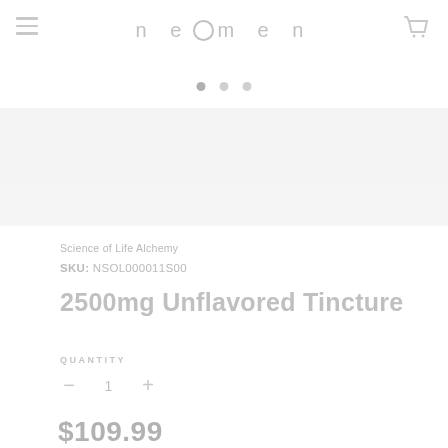neomen
[Figure (screenshot): Product image area (blurred/faded product image placeholder)]
Science of Life Alchemy
SKU: NSOL000011S00
2500mg Unflavored Tincture
QUANTITY
− 1 +
$109.99